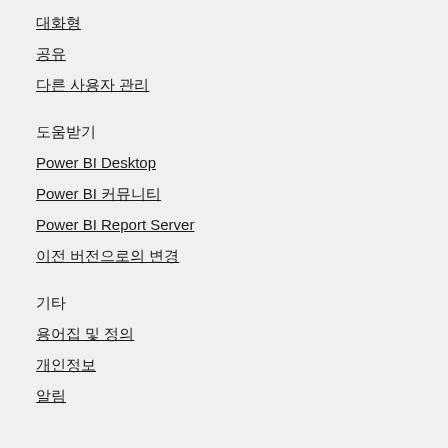대화형
공유
다른 사용자 관리
도움받기
Power BI Desktop
Power BI 커뮤니티
Power BI Report Server
이전 버전으로의 변경
기타
용어집 및 정의
개인정보
알림